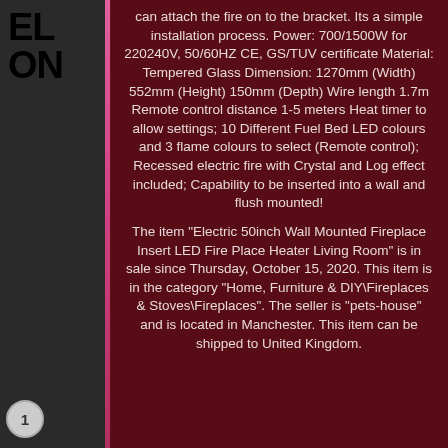EL ON
can attach the fire on to the bracket. Its a simple installation process. Power: 700/1500W for 220240V, 50/60HZ CE, GS/TUV certificate Material: Tempered Glass Dimension: 1270mm (Width) 552mm (Height) 150mm (Depth) Wire length 1.7m Remote control distance 1-5 meters Heat timer to allow settings; 10 Different Fuel Bed LED colours and 3 flame colours to select (Remote control); Recessed electric fire with Crystal and Log effect included; Capability to be inserted into a wall and flush mounted!
The item "Electric 50inch Wall Mounted Fireplace Insert LED Fire Place Heater Living Room" is in sale since Thursday, October 15, 2020. This item is in the category "Home, Furniture & DIY\Fireplaces & Stoves\Fireplaces". The seller is "pets-house" and is located in Manchester. This item can be shipped to United Kingdom.